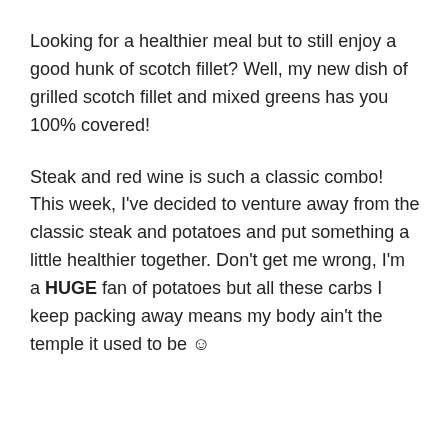Looking for a healthier meal but to still enjoy a good hunk of scotch fillet? Well, my new dish of grilled scotch fillet and mixed greens has you 100% covered!
Steak and red wine is such a classic combo! This week, I've decided to venture away from the classic steak and potatoes and put something a little healthier together. Don't get me wrong, I'm a HUGE fan of potatoes but all these carbs I keep packing away means my body ain't the temple it used to be ☺